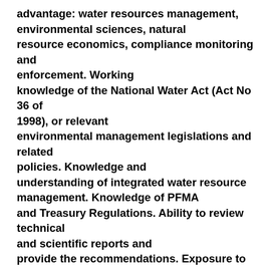advantage: water resources management, environmental sciences, natural resource economics, compliance monitoring and enforcement. Working knowledge of the National Water Act (Act No 36 of 1998), or relevant environmental management legislations and related policies. Knowledge and understanding of integrated water resource management. Knowledge of PFMA and Treasury Regulations. Ability to review technical and scientific reports and provide the recommendations. Exposure to construction environment. Technical report writing skills. Ability to provide technical and scientific support to the Department of Water and Sanitation and other government departments. Professional judgement. Presentation and networking skills. People